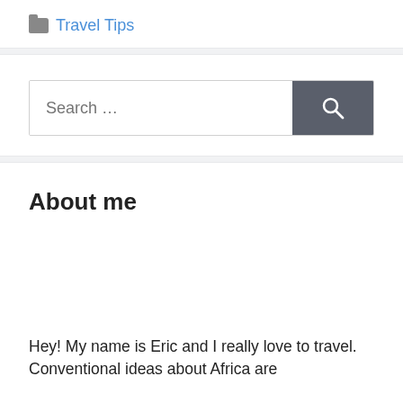Travel Tips
[Figure (other): Search bar with text input placeholder 'Search ...' and a dark gray search button with magnifying glass icon]
About me
Hey! My name is Eric and I really love to travel. Conventional ideas about Africa are